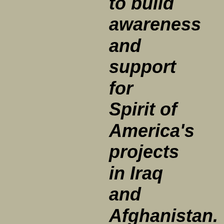to build awareness and support for Spirit of America's projects in Iraq and Afghanistan. The campaign features Public Service Announcements (PSAs) by General Tommy